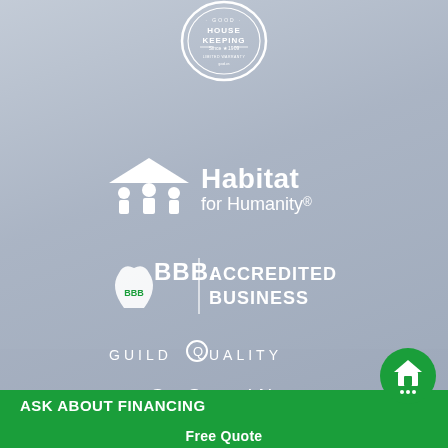[Figure (logo): Good Housekeeping seal at top center]
[Figure (logo): Habitat for Humanity logo with icon and text]
[Figure (logo): BBB Accredited Business logo]
[Figure (logo): GuildQuality logo]
Get Started Now
Full Name
ASK ABOUT FINANCING
Free Quote